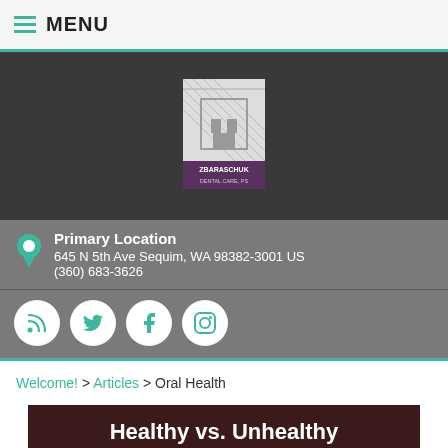MENU
[Figure (logo): Zbaraschuk Dental Care PS logo — building graphic with striped overlay and text 'ZBARASCHUK DENTAL CARE, PS']
Primary Location
645 N 5th Ave Sequim, WA 98382-3001 US
(360) 683-3626
[Figure (infographic): Social media icons: RSS feed, Twitter, Facebook, Instagram — white circles on grey background]
Welcome! > Articles > Oral Health
Healthy vs. Unhealthy